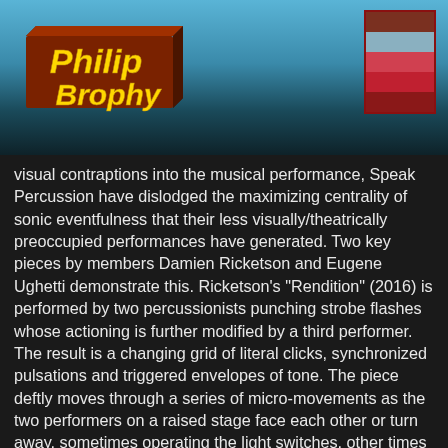[Figure (logo): Philip Brophy logo in retro 3D block lettering style with yellow text on a brown/red 3D block, set against a blue gradient background]
[Figure (other): Color swatch block in top-right corner with horizontal stripes: brown-red, light blue/grey, pinkish-red, deep red, red-brown]
visual contraptions into the musical performance, Speak Percussion have dislodged the maximizing centrality of sonic eventfulness that their less visually/theatrically preoccupied performances have generated. Two key pieces by members Damien Ricketson and Eugene Ughetti demonstrate this. Ricketson's "Rendition" (2016) is performed by two percussionists punching strobe flashes whose actioning is further modified by a third performer. The result is a changing grid of literal clicks, synchronized pulsations and triggered envelopes of tone. The piece deftly moves through a series of micro-movements as the two performers on a raised stage face each other or turn away, sometimes operating the light switches, other times performing handheld or hand-swung percussion instruments. Watching its staging, one can enjoy the stroboscopic effect of the performers' bodies suddenly appearing in tight synch to their 'sounding', or generating a Muybridge-like stop-motion effect of their